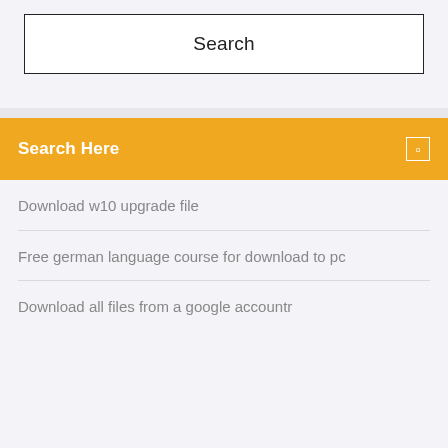Search
Search Here
Download w10 upgrade file
Free german language course for download to pc
Download all files from a google accountr